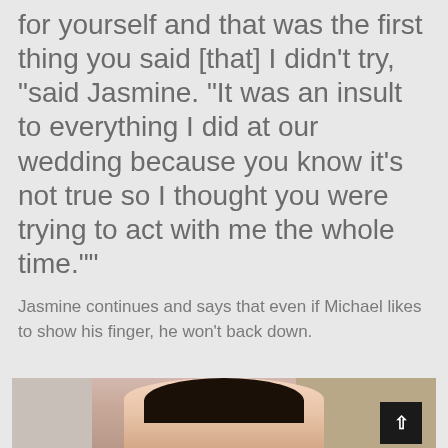for yourself and that was the first thing you said [that] I didn't try, “said Jasmine. “It was an insult to everything I did at our wedding because you know it’s not true so I thought you were trying to act with me the whole time.””
Jasmine continues and says that even if Michael likes to show his finger, he won’t back down.
[Figure (photo): Photo of a woman with long black hair, seen from approximately the shoulders up, with a pinkish background]